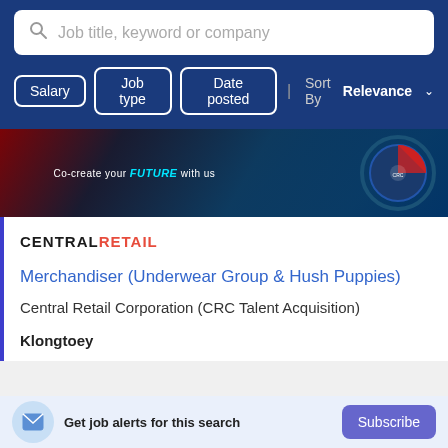[Figure (screenshot): Search bar with placeholder text 'Job title, keyword or company' on dark blue background]
[Figure (screenshot): Filter buttons: Salary, Job type, Date posted, and Sort By Relevance dropdown on dark blue background]
[Figure (photo): Dark banner image with text 'Co-create your FUTURE with us' and a circular diagram on the right]
[Figure (logo): CENTRAL RETAIL logo in bold text, CENTRAL in black and RETAIL in red]
Merchandiser (Underwear Group & Hush Puppies)
Central Retail Corporation (CRC Talent Acquisition)
Klongtoey
Get job alerts for this search